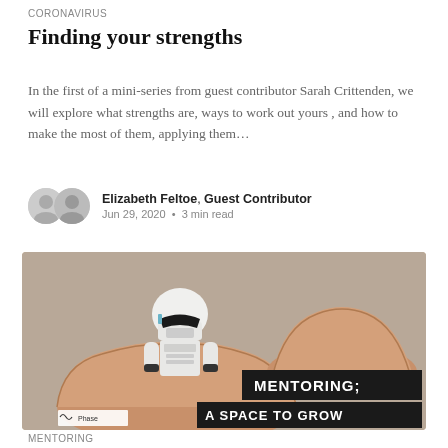CORONAVIRUS
Finding your strengths
In the first of a mini-series from guest contributor Sarah Crittenden, we will explore what strengths are, ways to work out yours , and how to make the most of them, applying them…
Elizabeth Feltoe, Guest Contributor
Jun 29, 2020 · 3 min read
[Figure (photo): A Star Wars Stormtrooper toy figurine sitting inside a broken eggshell, with another half eggshell beside it. A black banner reads 'MENTORING; A SPACE TO GROW'. A Phase logo is visible at the bottom left.]
MENTORING